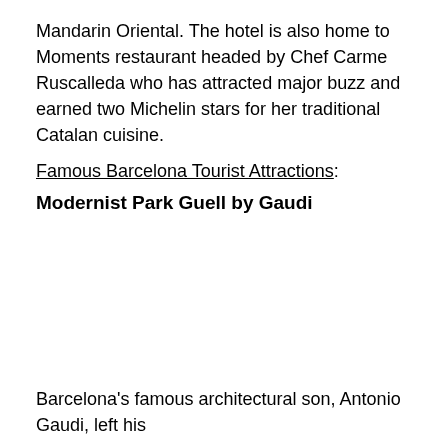Mandarin Oriental. The hotel is also home to Moments restaurant headed by Chef Carme Ruscalleda who has attracted major buzz and earned two Michelin stars for her traditional Catalan cuisine.
Famous Barcelona Tourist Attractions:
Modernist Park Guell by Gaudi
Barcelona's famous architectural son, Antonio Gaudi, left his